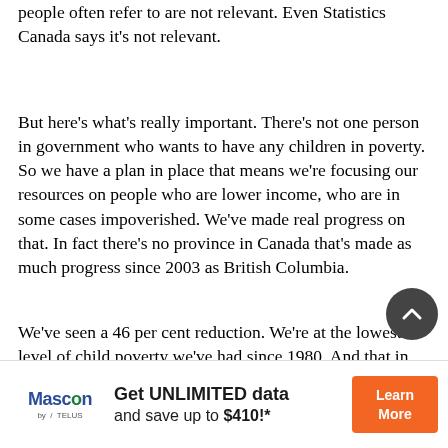people often refer to are not relevant. Even Statistics Canada says it's not relevant.
But here's what's really important. There's not one person in government who wants to have any children in poverty. So we have a plan in place that means we're focusing our resources on people who are lower income, who are in some cases impoverished. We've made real progress on that. In fact there's no province in Canada that's made as much progress since 2003 as British Columbia.
We've seen a 46 per cent reduction. We're at the lowest level of child poverty we've had since 1980. And that in no way suggests that the job is done. But I think everyone has to recognize we're making progress, and the people wh
[Figure (other): Advertisement banner for Mascon by TELUS: 'Get UNLIMITED data and save up to $410!*' with a Learn More button]